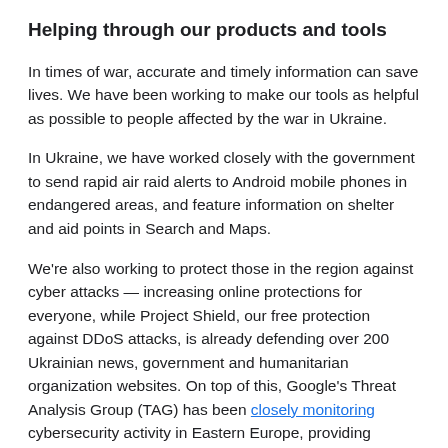Helping through our products and tools
In times of war, accurate and timely information can save lives. We have been working to make our tools as helpful as possible to people affected by the war in Ukraine.
In Ukraine, we have worked closely with the government to send rapid air raid alerts to Android mobile phones in endangered areas, and feature information on shelter and aid points in Search and Maps.
We're also working to protect those in the region against cyber attacks — increasing online protections for everyone, while Project Shield, our free protection against DDoS attacks, is already defending over 200 Ukrainian news, government and humanitarian organization websites. On top of this, Google's Threat Analysis Group (TAG) has been closely monitoring cybersecurity activity in Eastern Europe, providing regular updates and sharing information to help